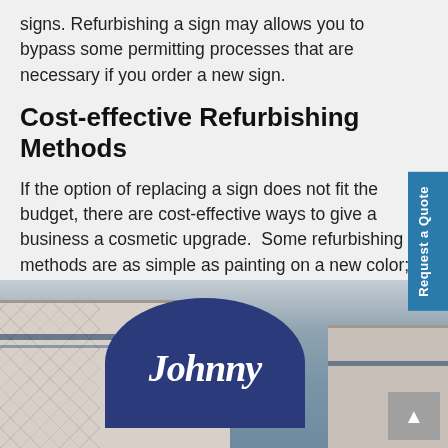signs. Refurbishing a sign may allows you to bypass some permitting processes that are necessary if you order a new sign.
Cost-effective Refurbishing Methods
If the option of replacing a sign does not fit the budget, there are cost-effective ways to give a business a cosmetic upgrade.  Some refurbishing methods are as simple as painting on a new color; there are others that require more detail.
[Figure (photo): Photograph of a commercial building sign reading 'Johnny' in white italic letters on a dark blue circular sign mounted on a light-colored building facade with diamond pattern detailing.]